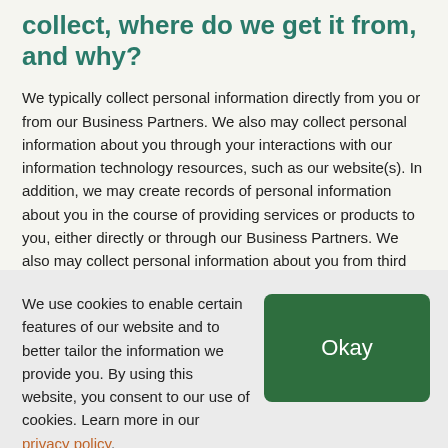collect, where do we get it from, and why?
We typically collect personal information directly from you or from our Business Partners. We also may collect personal information about you through your interactions with our information technology resources, such as our website(s). In addition, we may create records of personal information about you in the course of providing services or products to you, either directly or through our Business Partners. We also may collect personal information about you from third parties, including government agencies and third parties who provide services to us. In all cases, we collect personal information about you in
We use cookies to enable certain features of our website and to better tailor the information we provide you. By using this website, you consent to our use of cookies. Learn more in our privacy policy.